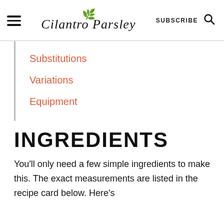Cilantro Parsley — SUBSCRIBE
Substitutions
Variations
Equipment
INGREDIENTS
You'll only need a few simple ingredients to make this. The exact measurements are listed in the recipe card below. Here's